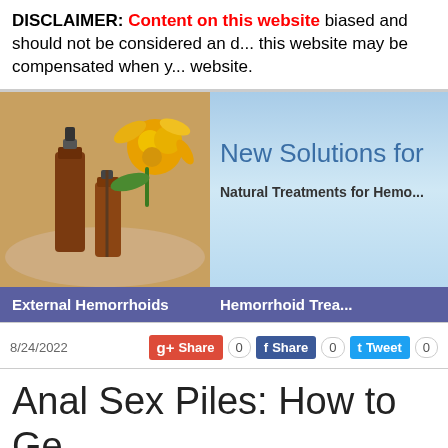DISCLAIMER: Content on this website biased and should not be considered an o... this website may be compensated when y... website.
[Figure (screenshot): Website banner for 'New Solutions for Natural Treatments for Hemorrhoids' with a photo of brown dropper bottles and yellow flowers on the left, blue gradient background with text on the right, and a purple navigation bar showing 'External Hemorrhoids' and 'Hemorrhoid Trea...']
8/24/2022
Share 0 (Google+) | Share 0 (Facebook) | Tweet 0 (Twitter)
Anal Sex Piles: How to Ge... hemorrhoids Natural Cur...